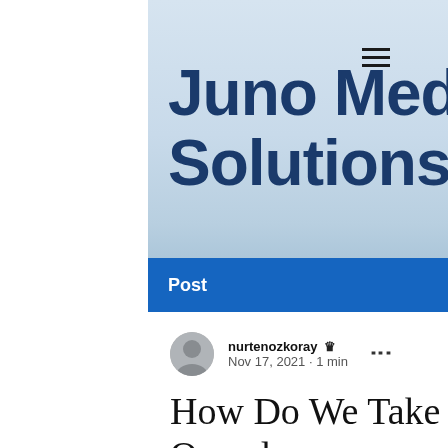Juno Medical Anti-Aging Solutions
Post  Search  Sign Up
nurtenozkoray Admin
Nov 17, 2021 · 1 min
How Do We Take Care Of Ourselves